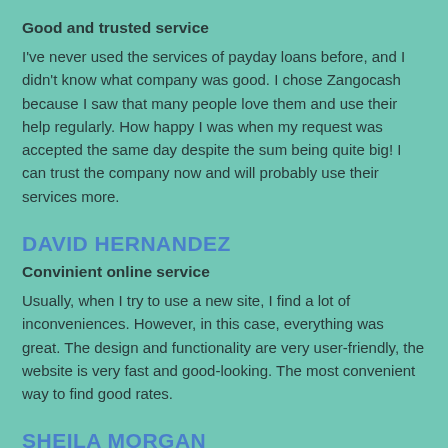Good and trusted service
I've never used the services of payday loans before, and I didn't know what company was good. I chose Zangocash because I saw that many people love them and use their help regularly. How happy I was when my request was accepted the same day despite the sum being quite big! I can trust the company now and will probably use their services more.
DAVID HERNANDEZ
Convinient online service
Usually, when I try to use a new site, I find a lot of inconveniences. However, in this case, everything was great. The design and functionality are very user-friendly, the website is very fast and good-looking. The most convenient way to find good rates.
SHEILA MORGAN